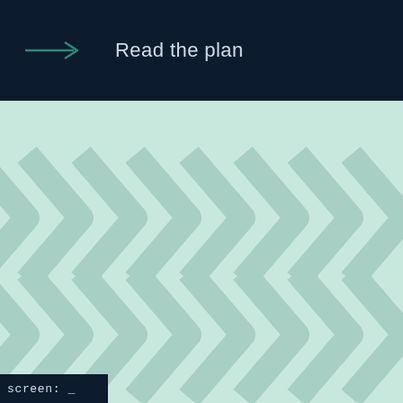Read the plan
[Figure (illustration): Light teal/mint background with repeating large chevron/arrow shapes pointing right, rendered in a slightly darker teal tone as a decorative pattern filling the lower portion of the page.]
screen: _